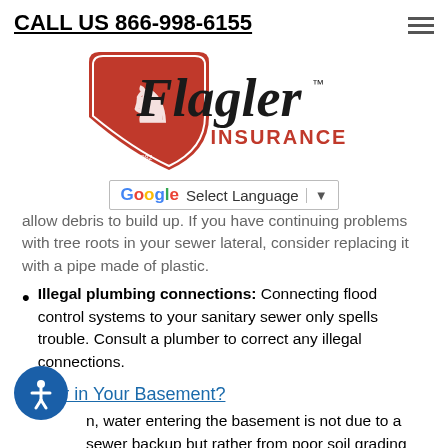CALL US 866-998-6155
[Figure (logo): Flagler Insurance logo with red shield and lion, script Flagler text, red INSURANCE text]
[Figure (other): Google Translate Select Language widget]
allow debris to build up. If you have continuing problems with tree roots in your sewer lateral, consider replacing it with a pipe made of plastic.
Illegal plumbing connections: Connecting flood control systems to your sanitary sewer only spells trouble. Consult a plumber to correct any illegal connections.
Water in Your Basement?
n, water entering the basement is not due to a sewer backup but rather from poor soil grading around